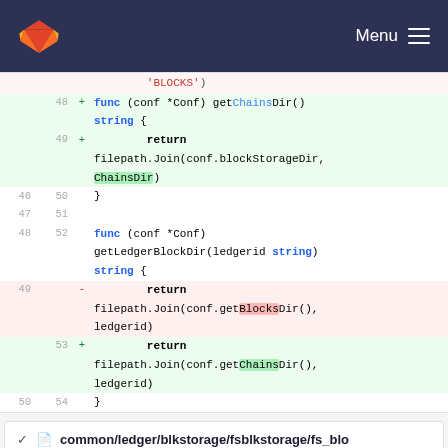[Figure (screenshot): GitLab navigation bar with orange fox logo and Menu hamburger icon on dark navy background]
[Figure (screenshot): Git diff view showing code changes in Go source file. Lines 48-54 shown with additions (green) and deletions (red). Added getChainsDir() function and changed getBlocksDir() to getChainsDir() in getLedgerBlockDir function.]
common/ledger/blkstorage/fsblkstorage/fs_blo